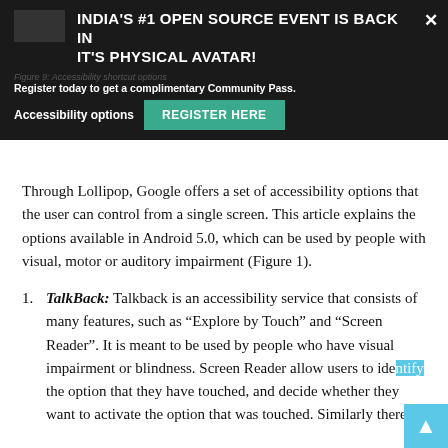[Figure (screenshot): Dark banner overlay with text: INDIA'S #1 OPEN SOURCE EVENT IS BACK IN IT'S PHYSICAL AVATAR! Register today to get a complimentary Community Pass. Accessibility options: [REGISTER HERE button]. Close X button. Caption: Figure 9: Accessibility shortcut options.]
Through Lollipop, Google offers a set of accessibility options that the user can control from a single screen. This article explains the options available in Android 5.0, which can be used by people with visual, motor or auditory impairment (Figure 1).
TalkBack: Talkback is an accessibility service that consists of many features, such as “Explore by Touch” and “Screen Reader”. It is meant to be used by people who have visual impairment or blindness. Screen Reader allow users to identify the option that they have touched, and decide whether they want to activate the option that was touched. Similarly there